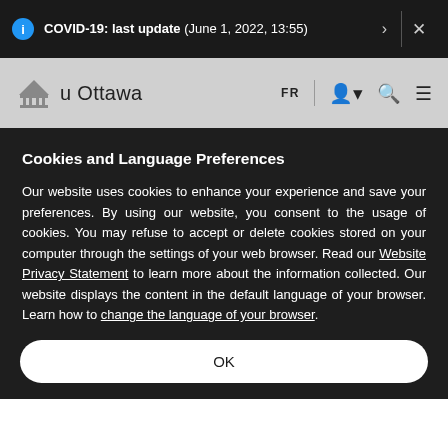COVID-19: last update (June 1, 2022, 13:55)
[Figure (screenshot): uOttawa navigation bar with FR language toggle, user icon, search icon, and menu icon]
Cookies and Language Preferences
Our website uses cookies to enhance your experience and save your preferences. By using our website, you consent to the usage of cookies. You may refuse to accept or delete cookies stored on your computer through the settings of your web browser. Read our Website Privacy Statement to learn more about the information collected. Our website displays the content in the default language of your browser. Learn how to change the language of your browser.
OK